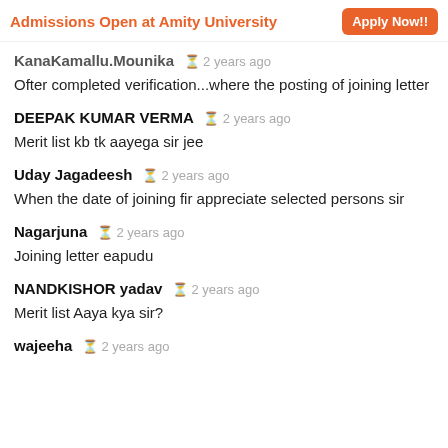[Figure (screenshot): Ad banner: Admissions Open at Amity University with Apply Now button]
KanaKamallu.Mounika ⊙ 2 years ago
Ofter completed verification...where the posting of joining letter
DEEPAK KUMAR VERMA ⊙ 2 years ago
Merit list kb tk aayega sir jee
Uday Jagadeesh ⊙ 2 years ago
When the date of joining fir appreciate selected persons sir
Nagarjuna ⊙ 2 years ago
Joining letter eapudu
NANDKISHOR yadav ⊙ 2 years ago
Merit list Aaya kya sir?
wajeeha ⊙ 2 years ago